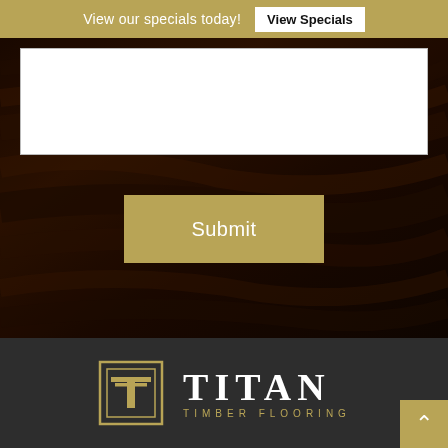View our specials today! View Specials
[Figure (screenshot): Dark wood grain textured background section with a gold Submit button centered in it]
Submit
[Figure (logo): Titan Timber Flooring logo: gold outlined T icon on left, TITAN in large white serif letters with TIMBER FLOORING in gold spaced letters below, on dark grey background]
^ (back to top button)